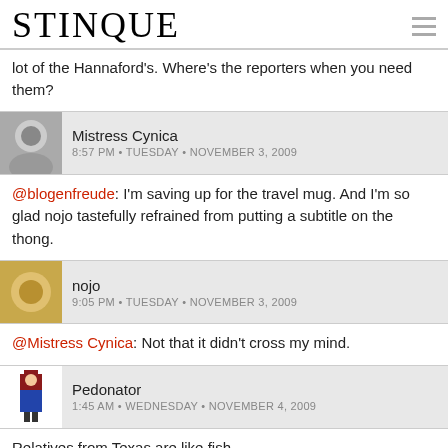STINQUE
lot of the Hannaford's. Where's the reporters when you need them?
Mistress Cynica
8:57 PM • TUESDAY • NOVEMBER 3, 2009
@blogenfreude: I'm saving up for the travel mug. And I'm so glad nojo tastefully refrained from putting a subtitle on the thong.
nojo
9:05 PM • TUESDAY • NOVEMBER 3, 2009
@Mistress Cynica: Not that it didn't cross my mind.
Pedonator
1:45 AM • WEDNESDAY • NOVEMBER 4, 2009
Relatives from Texas are like fish.